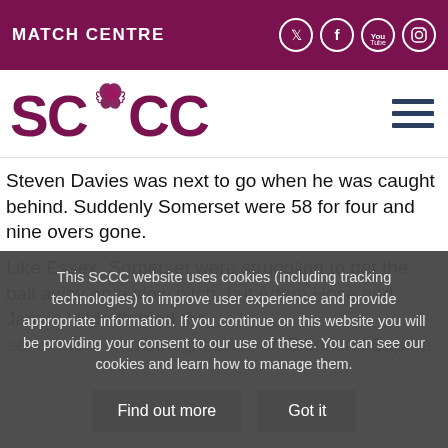MATCH CENTRE
[Figure (logo): SCCC (Somerset County Cricket Club) logo with griffin/dragon emblem between letters SC and CC in maroon]
Steven Davies was next to go when he was caught behind. Suddenly Somerset were 58 for four and nine overs gone.
Like Essex, Somerset were struggling to get the ball away on a slow pitch, but Adam Hose and James Hildreth tried the aerial route with straight sixes off Zaidi and Bopara.
This SCCC website uses cookies (including tracking technologies) to improve user experience and provide appropriate information. If you continue on this website you will be providing your consent to our use of these. You can see our cookies and learn how to manage them.